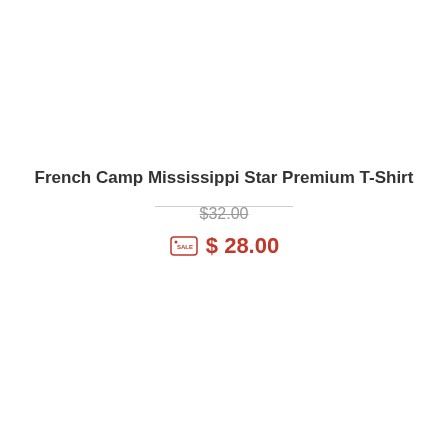French Camp Mississippi Star Premium T-Shirt
$32.00
$ 28.00